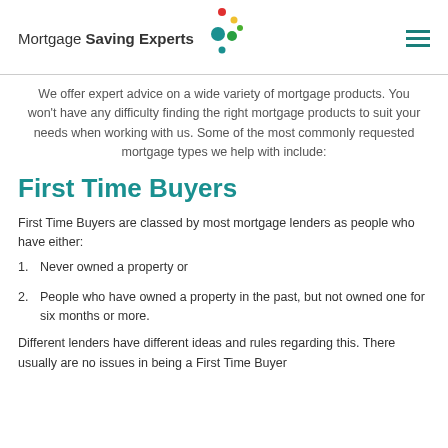Mortgage Saving Experts
We offer expert advice on a wide variety of mortgage products. You won't have any difficulty finding the right mortgage products to suit your needs when working with us. Some of the most commonly requested mortgage types we help with include:
First Time Buyers
First Time Buyers are classed by most mortgage lenders as people who have either:
1. Never owned a property or
2. People who have owned a property in the past, but not owned one for six months or more.
Different lenders have different ideas and rules regarding this. There usually are no issues in being a First Time Buyer